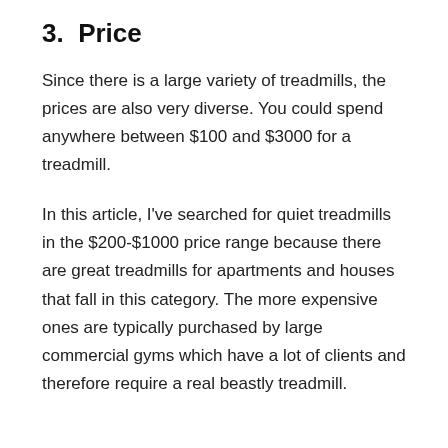3.  Price
Since there is a large variety of treadmills, the prices are also very diverse. You could spend anywhere between $100 and $3000 for a treadmill.
In this article, I've searched for quiet treadmills in the $200-$1000 price range because there are great treadmills for apartments and houses that fall in this category. The more expensive ones are typically purchased by large commercial gyms which have a lot of clients and therefore require a real beastly treadmill.